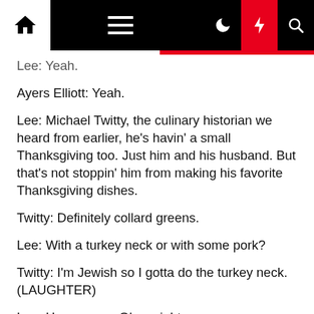Navigation bar with home, menu, moon, lightning, and search icons
Lee: Yeah.
Ayers Elliott: Yeah.
Lee: Michael Twitty, the culinary historian we heard from earlier, he's havin' a small Thanksgiving too. Just him and his husband. But that's not stoppin' him from making his favorite Thanksgiving dishes.
Twitty: Definitely collard greens.
Lee: With a turkey neck or with some pork?
Twitty: I'm Jewish so I gotta do the turkey neck. (LAUGHTER)
Lee: Here we go. Okay, right.
Twitty: So I'm gonna definitely make a small pot of collard greens, but also sweet potatoes. But, like, I've